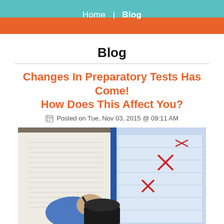Home  |  Blog
Blog
Changes In Preparatory Tests Has Come! How Does This Affect You?
Posted on Tue, Nov 03, 2015 @ 09:11 AM
[Figure (photo): Overhead view of a student taking a standardized test, with answer sheets, a pen held in hand, a blue binder with crossed-out answers, and a black travel mug on a desk.]